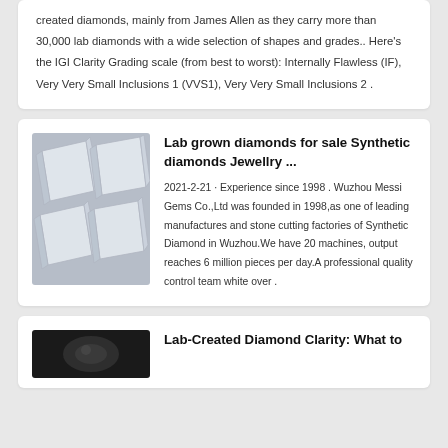created diamonds, mainly from James Allen as they carry more than 30,000 lab diamonds with a wide selection of shapes and grades.. Here's the IGI Clarity Grading scale (from best to worst): Internally Flawless (IF), Very Very Small Inclusions 1 (VVS1), Very Very Small Inclusions 2 .
[Figure (photo): Four lab-grown rough diamond crystals arranged in a 2x2 pattern on a dark background, showing octahedral crystal shapes with transparent/white color.]
Lab grown diamonds for sale Synthetic diamonds Jewellry ...
2021-2-21 · Experience since 1998 . Wuzhou Messi Gems Co.,Ltd was founded in 1998,as one of leading manufactures and stone cutting factories of Synthetic Diamond in Wuzhou.We have 20 machines, output reaches 6 million pieces per day.A professional quality control team white over .
[Figure (photo): Dark image, partial view of what appears to be diamond-related content.]
Lab-Created Diamond Clarity: What to